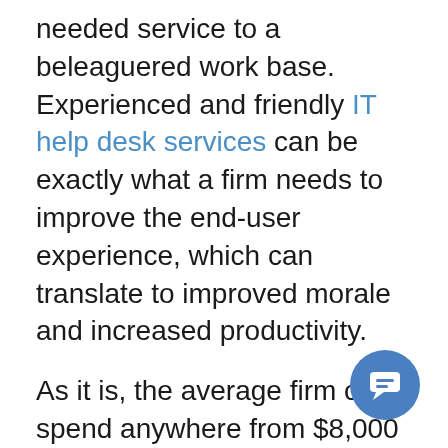needed service to a beleaguered work base. Experienced and friendly IT help desk services can be exactly what a firm needs to improve the end-user experience, which can translate to improved morale and increased productivity.
As it is, the average firm can spend anywhere from $8,000 to more than $21,000 per user on tech services. It's not an exaggeration to say that the right managed service provider (MSP) could save a firm millions of dollars in the long run.